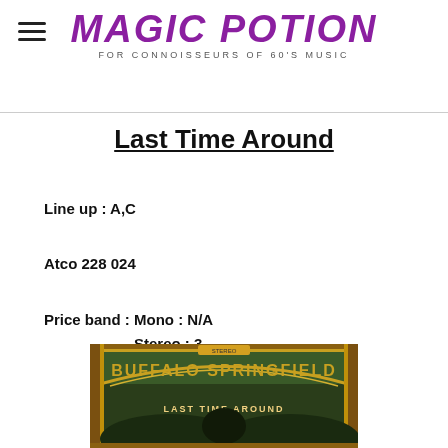Magic Potion — For Connoisseurs of 60's Music
Last Time Around
Line up : A,C
Atco 228 024
Price band : Mono : N/A
Stereo : 3
[Figure (photo): Album cover for Buffalo Springfield - Last Time Around, showing vintage circus-style artwork with ornate lettering and buffalo imagery on a dark green/gold background.]